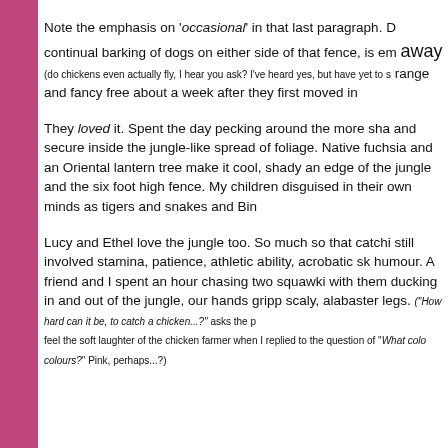Note the emphasis on 'occasional' in that last paragraph. D... continual barking of dogs on either side of that fence, is em... AWAY (do chickens even actually fly, I hear you ask? I've heard yes, but have yet to s... range and fancy free about a week after they first moved in.
They loved it. Spent the day pecking around the more sha... and secure inside the jungle-like spread of foliage. Native ... fuchsia and an Oriental lantern tree make it cool, shady an... edge of the jungle and the six foot high fence. My children ... disguised in their own minds as tigers and snakes and Bin...
Lucy and Ethel love the jungle too. So much so that catchi... still involved stamina, patience, athletic ability, acrobatic sk... humour. A friend and I spent an hour chasing two squawki... with them ducking in and out of the jungle, our hands gripp... scaly, alabaster legs. ("How hard can it be, to catch a chicken...?" asks the p... feel the soft laughter of the chicken farmer when I replied to the question of "What colo... colours?" Pink, perhaps...?)